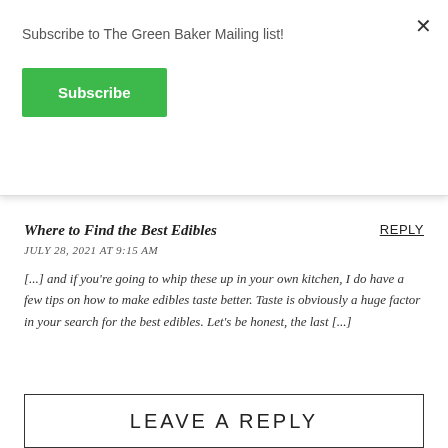Subscribe to The Green Baker Mailing list!
Subscribe
×
Where to Find the Best Edibles
REPLY
JULY 28, 2021 AT 9:15 AM
[...] and if you're going to whip these up in your own kitchen, I do have a few tips on how to make edibles taste better. Taste is obviously a huge factor in your search for the best edibles. Let's be honest, the last [...]
LEAVE A REPLY